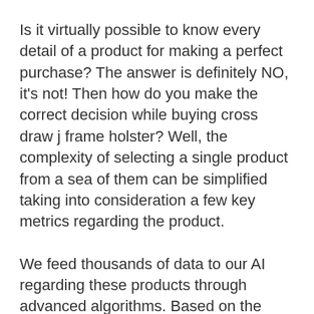Is it virtually possible to know every detail of a product for making a perfect purchase? The answer is definitely NO, it's not! Then how do you make the correct decision while buying cross draw j frame holster? Well, the complexity of selecting a single product from a sea of them can be simplified taking into consideration a few key metrics regarding the product.
We feed thousands of data to our AI regarding these products through advanced algorithms. Based on the relevant data i.e. brand, features, specs, ratings and reviews, and others (which are discussed below) a list of